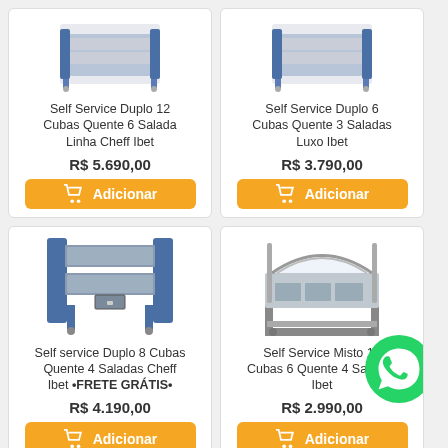[Figure (photo): Self Service Duplo 12 Cubas product photo]
Self Service Duplo 12 Cubas Quente 6 Salada Linha Cheff Ibet
R$ 5.690,00
Adicionar
[Figure (photo): Self Service Duplo 6 Cubas product photo]
Self Service Duplo 6 Cubas Quente 3 Saladas Luxo Ibet
R$ 3.790,00
Adicionar
[Figure (photo): Self service Duplo 8 Cubas product photo]
Self service Duplo 8 Cubas Quente 4 Saladas Cheff Ibet •FRETE GRÁTIS•
R$ 4.190,00
Adicionar
[Figure (photo): Self Service Misto 10 Cubas 6 Quente 4 Saladas Ibet product photo]
Self Service Misto 10 Cubas 6 Quente 4 Saladas Ibet
R$ 2.990,00
Adicionar